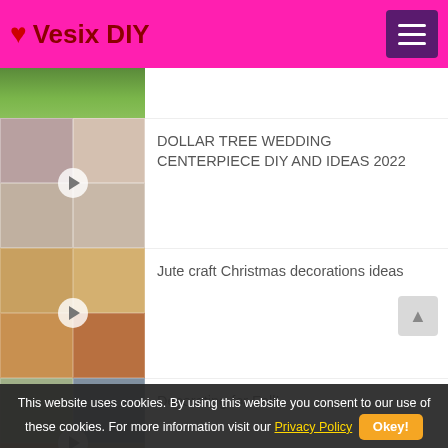❤ Vesix DIY
[Figure (photo): Partial thumbnail of a garden/outdoor path image at top]
DOLLAR TREE WEDDING CENTERPIECE DIY AND IDEAS 2022
Jute craft Christmas decorations ideas
Decorating for Fall!
Garden Decorating Ideas - Easy DIY beautiful waterfalls
This website uses cookies. By using this website you consent to our use of these cookies. For more information visit our Privacy Policy  Okey!